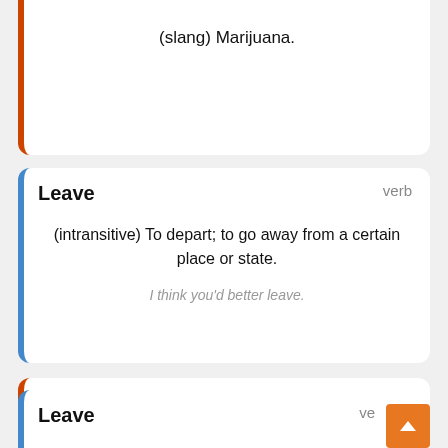(slang) Marijuana.
Leave
verb
(intransitive) To depart; to go away from a certain place or state.
I think you'd better leave.
Leaf
verb
(intransitive) To produce leaves; put forth foliage.
Leave
ve